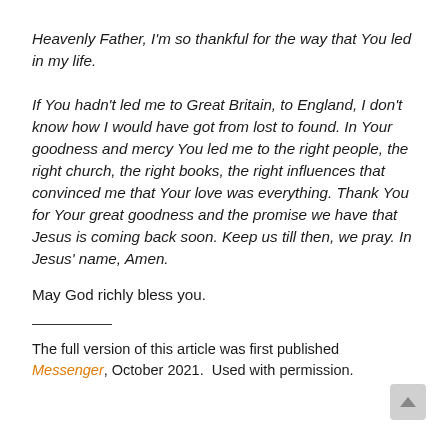Heavenly Father, I'm so thankful for the way that You led in my life. If You hadn't led me to Great Britain, to England, I don't know how I would have got from lost to found. In Your goodness and mercy You led me to the right people, the right church, the right books, the right influences that convinced me that Your love was everything. Thank You for Your great goodness and the promise we have that Jesus is coming back soon. Keep us till then, we pray. In Jesus' name, Amen.
May God richly bless you.
The full version of this article was first published Messenger, October 2021. Used with permission.